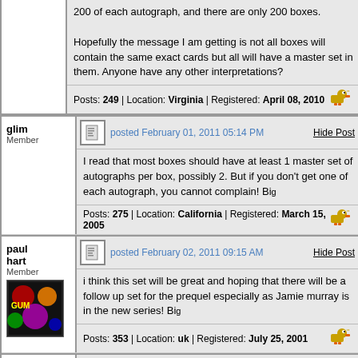200 of each autograph, and there are only 200 boxes.

Hopefully the message I am getting is not all boxes will contain the same exact cards but all will have a master set in them. Anyone have any other interpretations?
Posts: 249 | Location: Virginia | Registered: April 08, 2010
glim
Member
posted February 01, 2011 05:14 PM
Hide Post
I read that most boxes should have at least 1 master set of autographs per box, possibly 2. But if you don't get one of each autograph, you cannot complain! Big
Posts: 275 | Location: California | Registered: March 15, 2005
paul hart
Member
posted February 02, 2011 09:15 AM
Hide Post
i think this set will be great and hoping that there will be a follow up set for the prequel especially as Jamie murray is in the new series! Big
Posts: 353 | Location: uk | Registered: July 25, 2001
wolfie
Titanium Card Coll...
posted February 02, 2011 09:22 AM
Hide Post
Unfortunatly, Jamie Murray is not known for signing